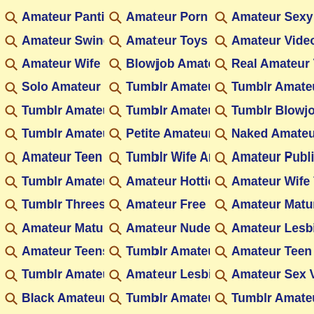Amateur Panties T
Amateur Porn Vid
Amateur Sexy Tu
Amateur Swingers
Amateur Toys Tur
Amateur Videos T
Amateur Wife Blo
Blowjob Amateur
Real Amateur Vid
Solo Amateur Tur
Tumblr Amateur A
Tumblr Amateur P
Tumblr Amateur T
Tumblr Amateur V
Tumblr Blowjob A
Tumblr Amateur S
Petite Amateur Tu
Naked Amateur W
Amateur Teen Tur
Tumblr Wife Amat
Amateur Public Tu
Tumblr Amateur C
Amateur Hotties T
Amateur Wife Thr
Tumblr Threesom
Amateur Free Ma
Amateur Mature V
Amateur Mature V
Amateur Nude Te
Amateur Lesbian
Amateur Teens Fu
Tumblr Amateur C
Amateur Teen Les
Tumblr Amateur D
Amateur Lesbian
Amateur Sex Vide
Black Amateur Pu
Tumblr Amateur P
Tumblr Amateur L